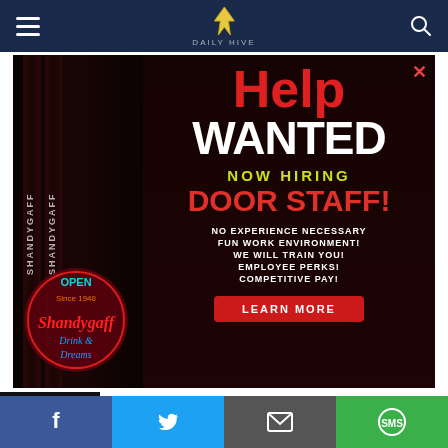Navigation bar with hamburger menu, logo, and search icon
[Figure (screenshot): Shandygaff bar Help Wanted advertisement — dark background with neon sign on left showing 'Shandygaff Drink & Dreams', red 'Help' text, white 'WANTED', yellow-green 'NOW HIRING', red 'DOOR STAFF!', white bullet points: NO EXPERIENCE NECESSARY, FUN WORK ENVIRONMENT!, WE WILL TRAIN YOU!, EMPLOYEE PERKS!, COMPETITIVE PAY!, and a red LEARN MORE button]
[Figure (screenshot): Secondary ad: All-New Luxury SUVs (Take a Look at the Prices) — dark sports car image on left, text on right: 'All-New Luxury SUVs (Take a Look at the Prices)', source: Crossover SUV | Search Ads | Sponsored]
Social share bar: Facebook, Twitter, Email, SMS